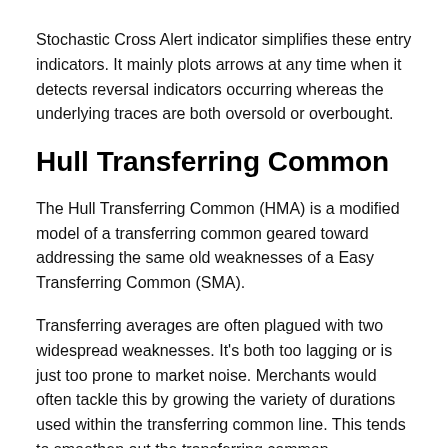Stochastic Cross Alert indicator simplifies these entry indicators. It mainly plots arrows at any time when it detects reversal indicators occurring whereas the underlying traces are both oversold or overbought.
Hull Transferring Common
The Hull Transferring Common (HMA) is a modified model of a transferring common geared toward addressing the same old weaknesses of a Easy Transferring Common (SMA).
Transferring averages are often plagued with two widespread weaknesses. It's both too lagging or is just too prone to market noise. Merchants would often tackle this by growing the variety of durations used within the transferring common line. This tends to smoothen out the transferring common